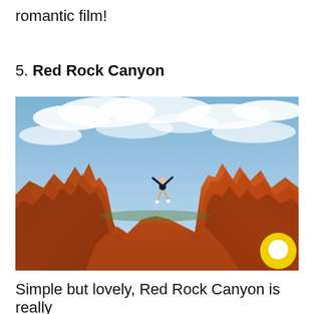romantic film!
5. Red Rock Canyon
[Figure (photo): A person jumping with arms raised on red rock formations at Red Rock Canyon, with a dramatic cloudy blue sky in the background. A yellow chat/comment icon is visible in the lower right corner of the image.]
Simple but lovely, Red Rock Canyon is really